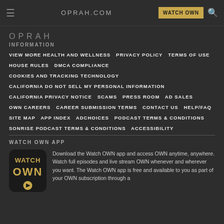OPRAH.COM  WATCH OWN
[Figure (logo): Partial OPRAH logo in gray letters]
INFORMATION
VIEW MORE HEALTH AND WELLNESS   PRIVACY POLICY   TERMS OF USE
HOUSE RULES   DMCA COMPLIANCE
COOKIES AND TRACKING TECHNOLOGY
CALIFORNIA DO NOT SELL MY PERSONAL INFORMATION
CALIFORNIA PRIVACY NOTICE   SCAMS   PRESS ROOM   AD SALES
OWN CAREERS   CAREER SUBMISSION TERMS   CONTACT US   HELP/FAQ
SITE MAP   APP INDEX   ADCHOICES   PODCAST TERMS & CONDITIONS
SONRISE PODCAST TERMS & CONDITIONS   ACCESSIBILITY
WATCH OWN APP
[Figure (logo): Watch OWN app icon — black rounded square with gold WATCH OWN text and play button]
Download the Watch OWN app and access OWN anytime, anywhere. Watch full episodes and live stream OWN whenever and wherever you want. The Watch OWN app is free and available to you as part of your OWN subscription through a